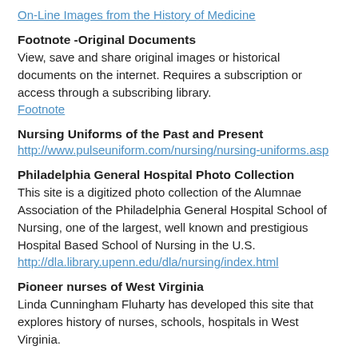On-Line Images from the History of Medicine
Footnote -Original Documents
View, save and share original images or historical documents on the internet. Requires a subscription or access through a subscribing library.
Footnote
Nursing Uniforms of the Past and Present
http://www.pulseuniform.com/nursing/nursing-uniforms.asp
Philadelphia General Hospital Photo Collection
This site is a digitized photo collection of the Alumnae Association of the Philadelphia General Hospital School of Nursing, one of the largest, well known and prestigious Hospital Based School of Nursing in the U.S.
http://dla.library.upenn.edu/dla/nursing/index.html
Pioneer nurses of West Virginia
Linda Cunningham Fluharty has developed this site that explores history of nurses, schools, hospitals in West Virginia.